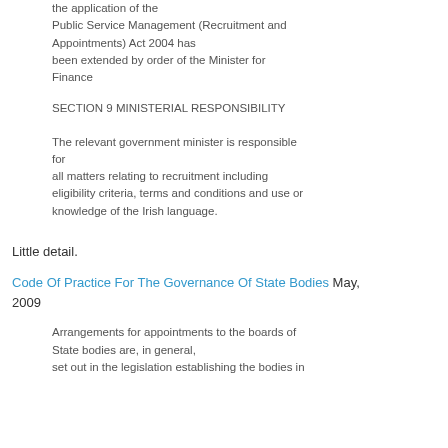the application of the Public Service Management (Recruitment and Appointments) Act 2004 has been extended by order of the Minister for Finance
SECTION 9 MINISTERIAL RESPONSIBILITY
The relevant government minister is responsible for all matters relating to recruitment including eligibility criteria, terms and conditions and use or knowledge of the Irish language.
Little detail.
Code Of Practice For The Governance Of State Bodies May, 2009
Arrangements for appointments to the boards of State bodies are, in general, set out in the legislation establishing the bodies in